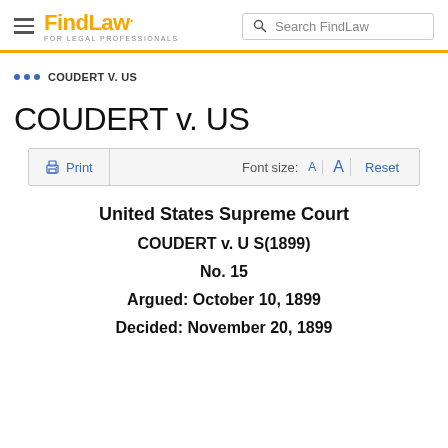FindLaw FOR LEGAL PROFESSIONALS | Search FindLaw
... COUDERT V. US
COUDERT v. US
Print | Font size: A A Reset
United States Supreme Court
COUDERT v. U S(1899)
No. 15
Argued: October 10, 1899
Decided: November 20, 1899